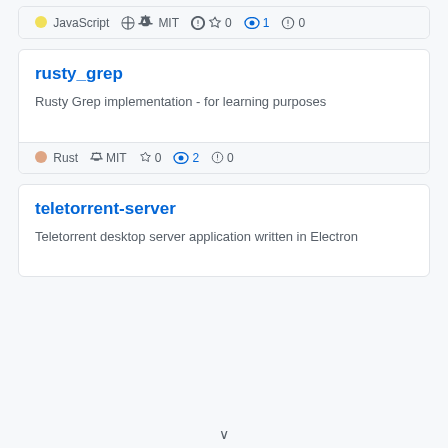JavaScript  MIT  ☆ 0  👁 1  ⚠ 0
rusty_grep
Rusty Grep implementation - for learning purposes
Rust  MIT  ☆ 0  👁 2  ⚠ 0
teletorrent-server
Teletorrent desktop server application written in Electron